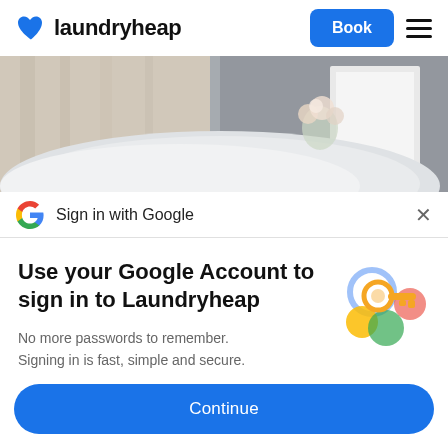laundryheap — Book
[Figure (photo): Blurred bedroom photo showing white pillows/duvet, curtains, and flowers in background on grey wall]
Sign in with Google
Use your Google Account to sign in to Laundryheap
No more passwords to remember. Signing in is fast, simple and secure.
[Figure (illustration): Google sign-in illustration: a golden key surrounded by colorful circular icons (blue, yellow, green, red/pink)]
Continue